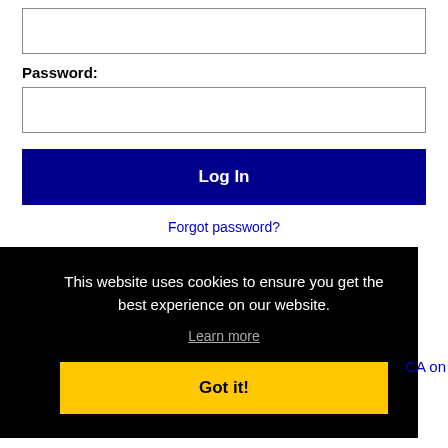[Figure (screenshot): Empty text input box at top of login form]
Password:
[Figure (screenshot): Empty password input box]
Log In
Forgot password?
This website uses cookies to ensure you get the best experience on our website.
Learn more
Got it!
CA on